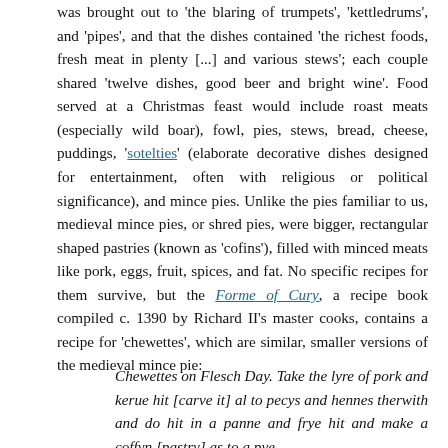was brought out to 'the blaring of trumpets', 'kettledrums', and 'pipes', and that the dishes contained 'the richest foods, fresh meat in plenty [...] and various stews'; each couple shared 'twelve dishes, good beer and bright wine'. Food served at a Christmas feast would include roast meats (especially wild boar), fowl, pies, stews, bread, cheese, puddings, 'sotelties' (elaborate decorative dishes designed for entertainment, often with religious or political significance), and mince pies. Unlike the pies familiar to us, medieval mince pies, or shred pies, were bigger, rectangular shaped pastries (known as 'cofins'), filled with minced meats like pork, eggs, fruit, spices, and fat. No specific recipes for them survive, but the Forme of Cury, a recipe book compiled c. 1390 by Richard II's master cooks, contains a recipe for 'chewettes', which are similar, smaller versions of the medieval mince pie:
Chewettes on Flesch Day. Take the lyre of pork and kerue hit [carve it] al to pecys and hennes therwith and do hit in a panne and frye hit and make a coffyn [pastry] as to a pye